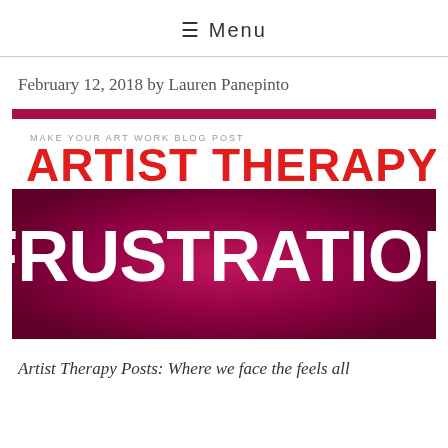≡ Menu
February 12, 2018 by Lauren Panepinto
[Figure (illustration): Blog post banner image with dark magenta/crimson background. Top section white with small gray text 'MAKE YOUR ART WORK BLOG POST' and large red bold text 'ARTIST THERAPY'. Bottom section has dark magenta textured background with large bold white text 'FRUSTRATION'.]
Artist Therapy Posts: Where we face the feels all